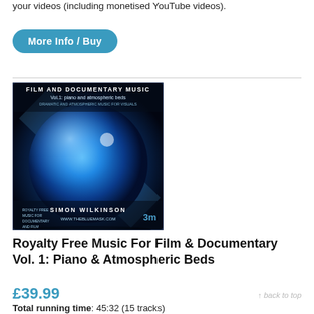your videos (including monetised YouTube videos).
More Info / Buy
[Figure (photo): CD album cover for 'Film and Documentary Music Vol.1: piano and atmospheric beds' by Simon Wilkinson, featuring a blue glowing sphere on a dark background with the TheBlueMask.com branding.]
Royalty Free Music For Film & Documentary Vol. 1: Piano & Atmospheric Beds
£39.99
↑ back to top
Total running time: 45:32 (15 tracks)